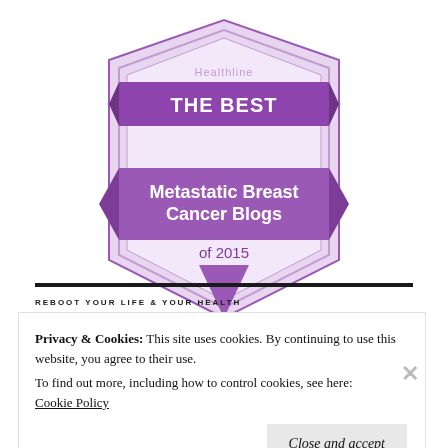[Figure (logo): Healthline award badge: 'THE BEST Metastatic Breast Cancer Blogs of 2015' in a purple/violet shield/badge shape with ribbon banners]
REBOOT YOUR LIFE & YOUR HEALTH
Privacy & Cookies: This site uses cookies. By continuing to use this website, you agree to their use.
To find out more, including how to control cookies, see here:
Cookie Policy